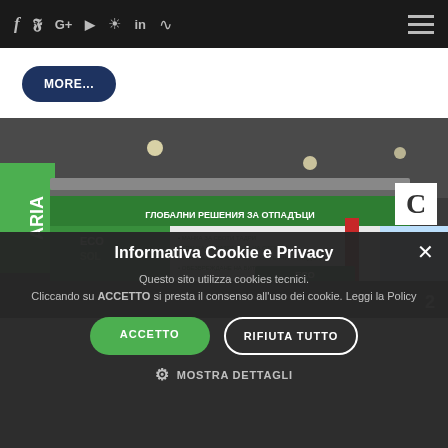f  y  G+  yt  ig  in  rss  [hamburger menu]
MORE...
[Figure (photo): Exhibition booth for ECOSOL brand at a trade fair, showing large hanging green and white banners with Cyrillic text and ECOSOL branding.]
Informativa Cookie e Privacy
Questo sito utilizza cookies tecnici.
Cliccando su ACCETTO si presta il consenso all'uso dei cookie. Leggi la Policy
ACCETTO
RIFIUTA TUTTO
MOSTRA DETTAGLI